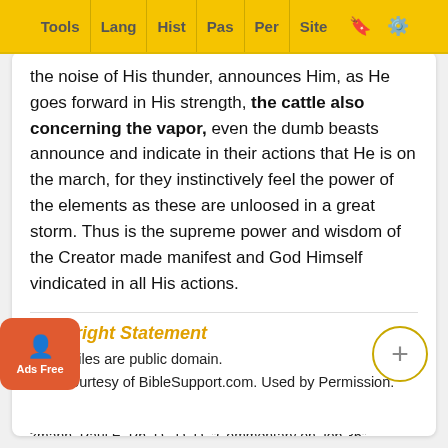Tools | Lang | Hist | Pas | Per | Site
the noise of His thunder, announces Him, as He goes forward in His strength, the cattle also concerning the vapor, even the dumb beasts announce and indicate in their actions that He is on the march, for they instinctively feel the power of the elements as these are unloosed in a great storm. Thus is the supreme power and wisdom of the Creator made manifest and God Himself vindicated in all His actions.
Copyright Statement
These files are public domain.
Text Courtesy of BibleSupport.com. Used by Permission.
Bibliographical Information
zmann, Paul E. Ph. D., D. D. "Commentary on Job 36". zmann's Popular Commentary". https://www.studylight.org. mentaries/eng/kpc/job-36.html. 1921-23.